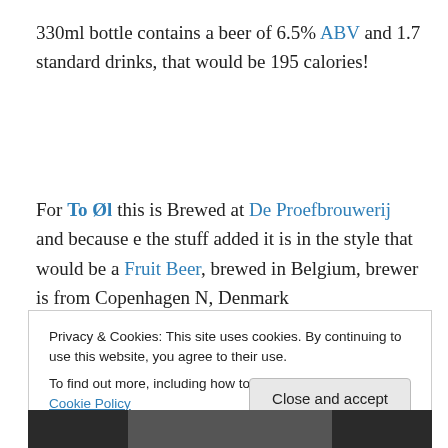330ml bottle contains a beer of 6.5% ABV and 1.7 standard drinks, that would be 195 calories!
For To Øl this is Brewed at De Proefbrouwerij and because e the stuff added it is in the style that would be a Fruit Beer, brewed in Belgium, brewer is from Copenhagen N, Denmark
Privacy & Cookies: This site uses cookies. By continuing to use this website, you agree to their use.
To find out more, including how to control cookies, see here: Cookie Policy
[Figure (photo): Partial photo strip at the bottom of the page, showing a dark image (likely a beer bottle or person).]